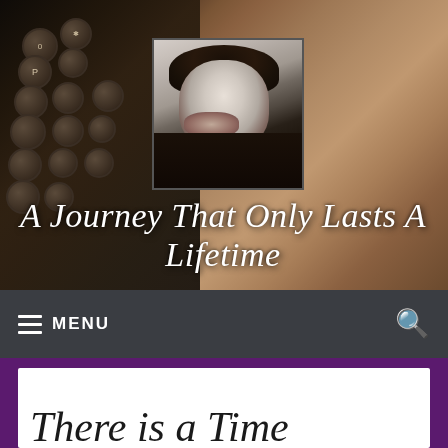[Figure (photo): Blog header image showing a vintage typewriter on the left side and a wooden surface background, with a black-and-white profile photo of a smiling woman in the center-right of the banner area]
A Journey That Only Lasts A Lifetime
≡ MENU
There is a Time